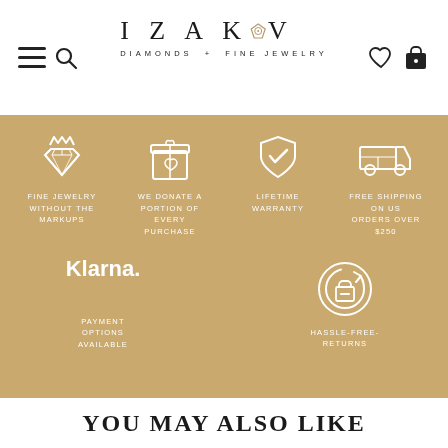IZAKOV DIAMONDS + FINE JEWELRY
[Figure (infographic): Gold banner with four icons and labels: diamond gem (FINE JEWELRY WITHOUT THE MARKUPS), gift bag with heart (WE DONATE A PORTION OF EVERY PURCHASE), shield with checkmark (LIFETIME WARRANTY), delivery truck (FREE SHIPPING ON US ORDERS OVER $250). Below: Klarna logo with PAYMENT OPTIONS AVAILABLE, and return bag icon with HASSLE-FREE-RETURNS.]
YOU MAY ALSO LIKE